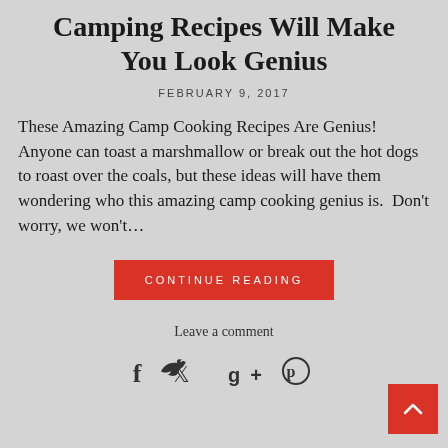Camping Recipes Will Make You Look Genius
FEBRUARY 9, 2017
These Amazing Camp Cooking Recipes Are Genius! Anyone can toast a marshmallow or break out the hot dogs to roast over the coals, but these ideas will have them wondering who this amazing camp cooking genius is. Don't worry, we won't…
CONTINUE READING
Leave a comment
[Figure (other): Social media icons: Facebook (f), Twitter bird, Google+ (g+), Pinterest (p)]
[Figure (other): Back to top button — red square with white upward caret]